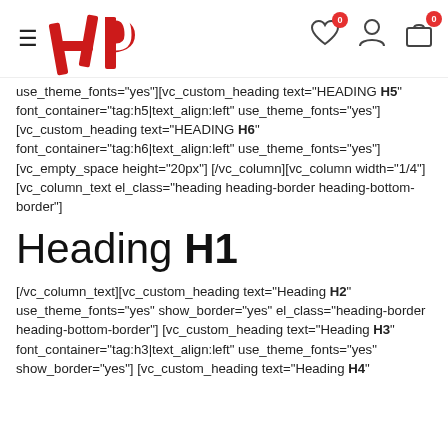Navigation header with logo and icons (heart, user, cart)
use_theme_fonts="yes"][vc_custom_heading text="HEADING H5" font_container="tag:h5|text_align:left" use_theme_fonts="yes"][vc_custom_heading text="HEADING H6" font_container="tag:h6|text_align:left" use_theme_fonts="yes"][vc_empty_space height="20px"][/vc_column][vc_column width="1/4"][vc_column_text el_class="heading heading-border heading-bottom-border"]
Heading H1
[/vc_column_text][vc_custom_heading text="Heading H2" use_theme_fonts="yes" show_border="yes" el_class="heading-border heading-bottom-border"][vc_custom_heading text="Heading H3" font_container="tag:h3|text_align:left" use_theme_fonts="yes" show_border="yes"][vc_custom_heading text="Heading H4"